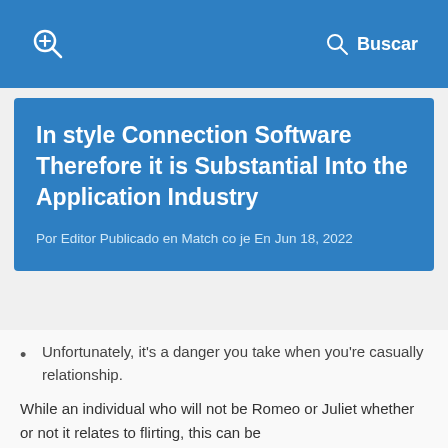Buscar
In style Connection Software Therefore it is Substantial Into the Application Industry
Por Editor Publicado en Match co je En Jun 18, 2022
Unfortunately, it's a danger you take when you're casually relationship.
While an individual who will not be Romeo or Juliet whether or not it relates to flirting, this can be